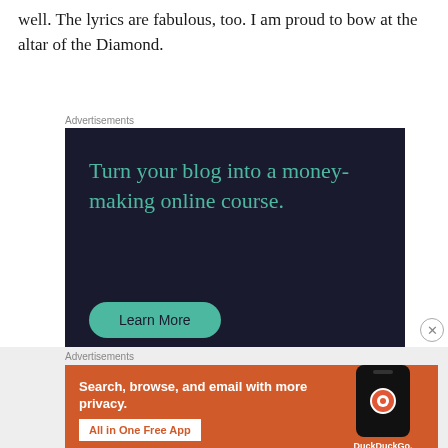well. The lyrics are fabulous, too. I am proud to bow at the altar of the Diamond.
[Figure (infographic): Dark navy background advertisement reading 'Turn your blog into a money-making online course.' with a teal 'Learn More' button]
[Figure (infographic): Orange DuckDuckGo advertisement reading 'Search, browse, and email with more privacy. All in One Free App' with phone graphic and DuckDuckGo logo]